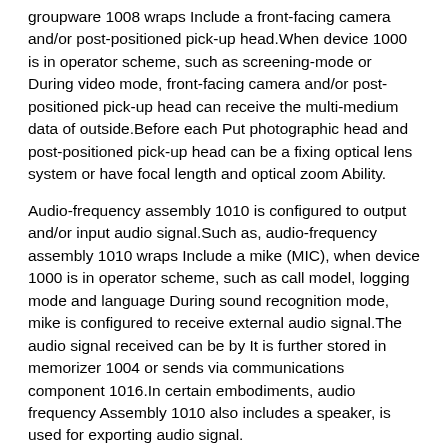groupware 1008 wraps Include a front-facing camera and/or post-positioned pick-up head.When device 1000 is in operator scheme, such as screening-mode or During video mode, front-facing camera and/or post-positioned pick-up head can receive the multi-medium data of outside.Before each Put photographic head and post-positioned pick-up head can be a fixing optical lens system or have focal length and optical zoom Ability.
Audio-frequency assembly 1010 is configured to output and/or input audio signal.Such as, audio-frequency assembly 1010 wraps Include a mike (MIC), when device 1000 is in operator scheme, such as call model, logging mode and language During sound recognition mode, mike is configured to receive external audio signal.The audio signal received can be by It is further stored in memorizer 1004 or sends via communications component 1016.In certain embodiments, audio frequency Assembly 1010 also includes a speaker, is used for exporting audio signal.
I/O interface 1012 provides interface for processing between assembly 1002 and peripheral interface module, above-mentioned periphery connects Mouth die block can